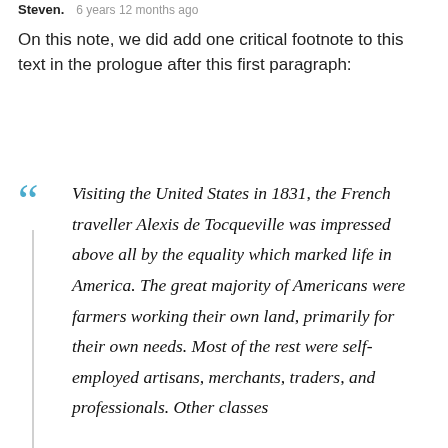Steven.   6 years 12 months ago
On this note, we did add one critical footnote to this text in the prologue after this first paragraph:
Visiting the United States in 1831, the French traveller Alexis de Tocqueville was impressed above all by the equality which marked life in America. The great majority of Americans were farmers working their own land, primarily for their own needs. Most of the rest were self-employed artisans, merchants, traders, and professionals. Other classes